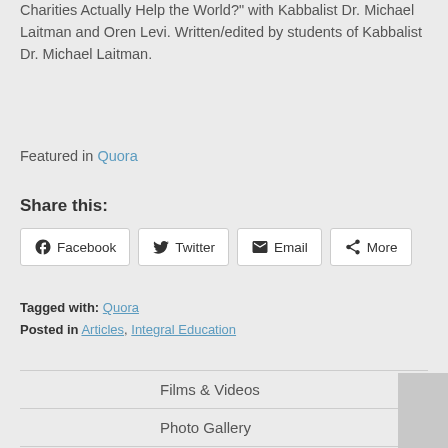Charities Actually Help the World?" with Kabbalist Dr. Michael Laitman and Oren Levi. Written/edited by students of Kabbalist Dr. Michael Laitman.
Featured in Quora
Share this:
Facebook  Twitter  Email  More
Tagged with: Quora
Posted in Articles, Integral Education
Films & Videos
Photo Gallery
Personal Blog